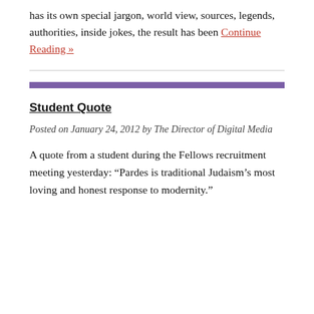has its own special jargon, world view, sources, legends, authorities, inside jokes, the result has been Continue Reading »
Student Quote
Posted on January 24, 2012 by The Director of Digital Media
A quote from a student during the Fellows recruitment meeting yesterday: “Pardes is traditional Judaism’s most loving and honest response to modernity.”